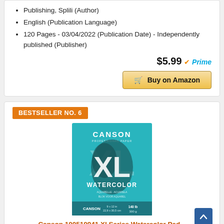Publishing, Splili (Author)
English (Publication Language)
120 Pages - 03/04/2022 (Publication Date) - Independently published (Publisher)
$5.99 ✓Prime
Buy on Amazon
BESTSELLER NO. 6
[Figure (photo): Canson XL Watercolor pad product image on teal background]
Canson 100510941 Xl Series Watercolor Pad...